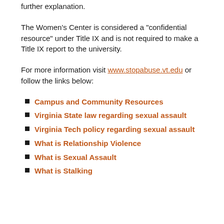further explanation.
The Women's Center is considered a "confidential resource" under Title IX and is not required to make a Title IX report to the university.
For more information visit www.stopabuse.vt.edu or follow the links below:
Campus and Community Resources
Virginia State law regarding sexual assault
Virginia Tech policy regarding sexual assault
What is Relationship Violence
What is Sexual Assault
What is Stalking